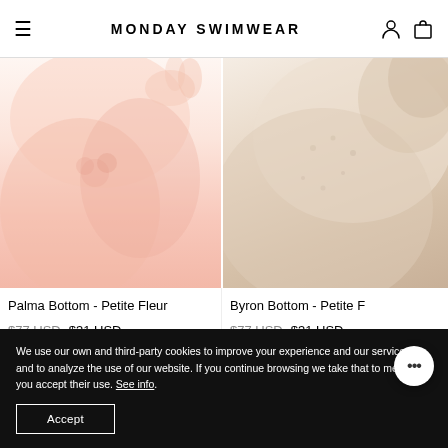MONDAY SWIMWEAR
[Figure (photo): Palma Bottom - Petite Fleur swimwear product photo, pinkish floral bikini bottom on model]
Palma Bottom - Petite Fleur
$77 USD  $31 USD
[Figure (photo): Byron Bottom - Petite Fleur swimwear product photo, white textured bikini bottom on model, cropped]
Byron Bottom - Petite F
$77 USD  $31 USD
We use our own and third-party cookies to improve your experience and our services, and to analyze the use of our website. If you continue browsing we take that to mean that you accept their use. See info.
Accept